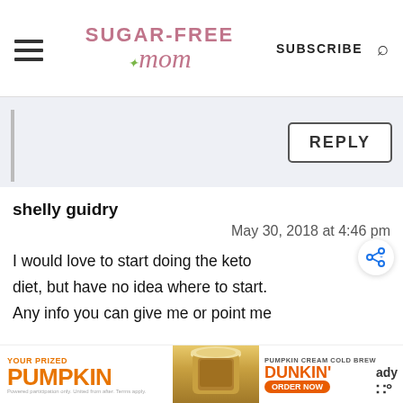Sugar-Free Mom | SUBSCRIBE
REPLY
shelly guidry
May 30, 2018 at 4:46 pm
I would love to start doing the keto diet, but have no idea where to start. Any info you can give me or point me
[Figure (other): Advertisement banner: Your Prized Pumpkin — Dunkin' Pumpkin Cream Cold Brew, Order Now]